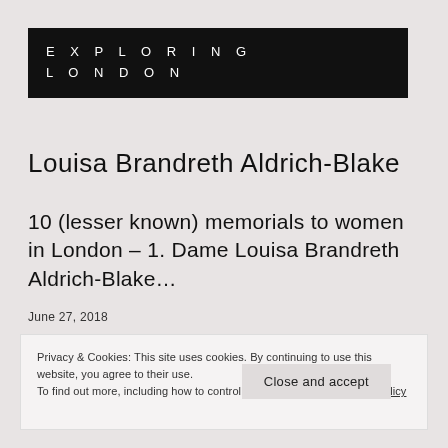EXPLORING LONDON
Louisa Brandreth Aldrich-Blake
10 (lesser known) memorials to women in London – 1. Dame Louisa Brandreth Aldrich-Blake…
June 27, 2018
Privacy & Cookies: This site uses cookies. By continuing to use this website, you agree to their use.
To find out more, including how to control cookies, see here: Cookie Policy
Close and accept